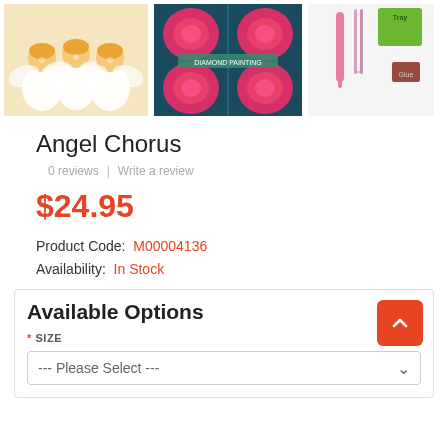[Figure (photo): Three product images: angels figurines, pink roses diamond painting, and painting tools including stylus, tweezers, tray, and glue]
Angel Chorus
0 reviews  |  Write a review
$24.95
Product Code:  M00004136
Availability:  In Stock
Available Options
* SIZE
--- Please Select ---